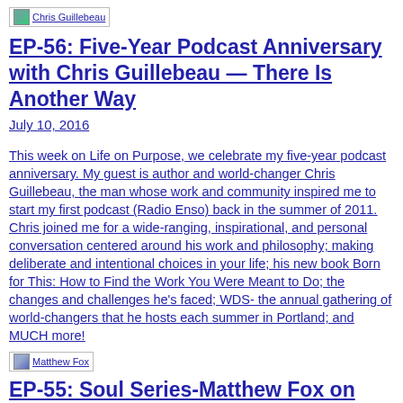[Figure (logo): Chris Guillebeau logo/image link]
EP-56: Five-Year Podcast Anniversary with Chris Guillebeau — There Is Another Way
July 10, 2016
This week on Life on Purpose, we celebrate my five-year podcast anniversary. My guest is author and world-changer Chris Guillebeau, the man whose work and community inspired me to start my first podcast (Radio Enso) back in the summer of 2011. Chris joined me for a wide-ranging, inspirational, and personal conversation centered around his work and philosophy; making deliberate and intentional choices in your life; his new book Born for This: How to Find the Work You Were Meant to Do; the changes and challenges he's faced; WDS- the annual gathering of world-changers that he hosts each summer in Portland; and MUCH more!
[Figure (logo): Matthew Fox logo/image link]
EP-55: Soul Series-Matthew Fox on